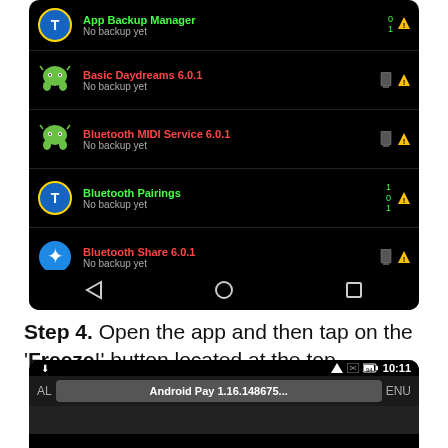[Figure (screenshot): Android app backup manager screenshot showing list of apps: Basic Daydreams 6.0.1, Bluetooth MIDI Service 6.0.1, Bluetooth Pairings, Bluetooth Share 6.0.1, Calculator 7.2.1 (2719806) (updated). Each shows 'No backup yet' and icons on the right. Bottom navigation bar visible.]
Step 4. Open the app and then tap on the 'Freeze!' button located at the top.
[Figure (screenshot): Android phone screenshot showing status bar with 10:11 time and a popup dialog showing 'Android Pay 1.16.148675...' with 'ALL' and 'MENU' text visible.]